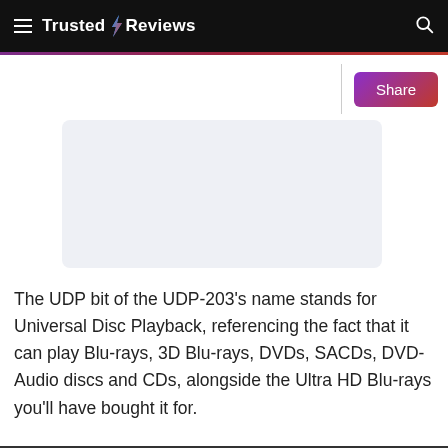Trusted Reviews
[Figure (other): Advertisement or image placeholder — light blue-grey rounded rectangle]
The UDP bit of the UDP-203's name stands for Universal Disc Playback, referencing the fact that it can play Blu-rays, 3D Blu-rays, DVDs, SACDs, DVD-Audio discs and CDs, alongside the Ultra HD Blu-rays you'll have bought it for.